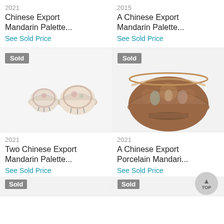2021
Chinese Export Mandarin Palette...
See Sold Price
2015
A Chinese Export Mandarin Palette...
See Sold Price
[Figure (photo): Two small decorative Chinese export porcelain bowls with mandarin palette decoration, each on small feet, white background. Sold badge visible.]
[Figure (photo): A large Chinese export porcelain bowl with mandarin palette decoration in brown/rust tones with colored enamel figures. Sold badge visible.]
2021
Two Chinese Export Mandarin Palette...
See Sold Price
2021
A Chinese Export Porcelain Mandari...
See Sold Price